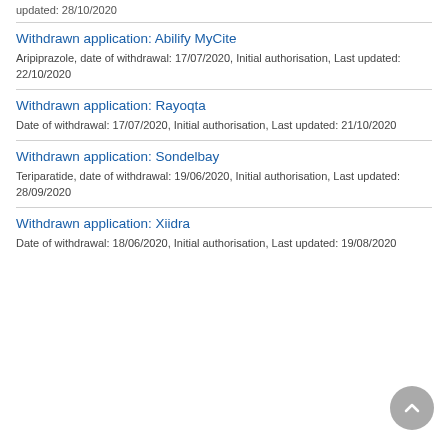updated: 28/10/2020
Withdrawn application: Abilify MyCite
Aripiprazole, date of withdrawal: 17/07/2020, Initial authorisation, Last updated: 22/10/2020
Withdrawn application: Rayoqta
Date of withdrawal: 17/07/2020, Initial authorisation, Last updated: 21/10/2020
Withdrawn application: Sondelbay
Teriparatide, date of withdrawal: 19/06/2020, Initial authorisation, Last updated: 28/09/2020
Withdrawn application: Xiidra
Date of withdrawal: 18/06/2020, Initial authorisation, Last updated: 19/08/2020